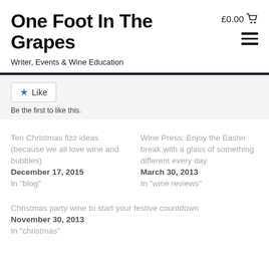One Foot In The Grapes
£0.00
Writer, Events & Wine Education
Like
Be the first to like this.
Ten Christmas fizz ideas (because we all love wine and bubbles)
December 17, 2015
In "blog"
Wine Press: Enjoy the Easter break with a glass of something different every day
March 30, 2013
In "wine reviews"
Christmas party wine to start your festive countdown
November 30, 2013
In "christmas"